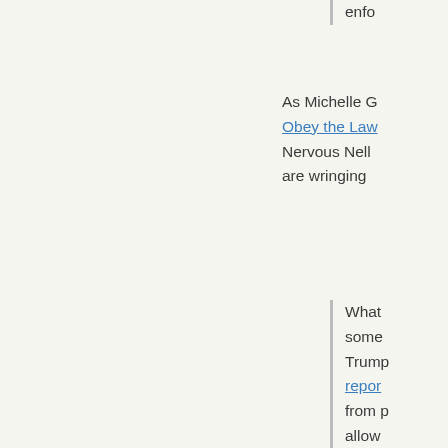enfor...
As Michelle G... Obey the Law... Nervous Nell... are wringing...
What... some... Trump... report... from p... allow... shoul...
This is what... society that h... will inevitably...
Use it or lose... wisdom like h... should be do... they must su... we're in a co...